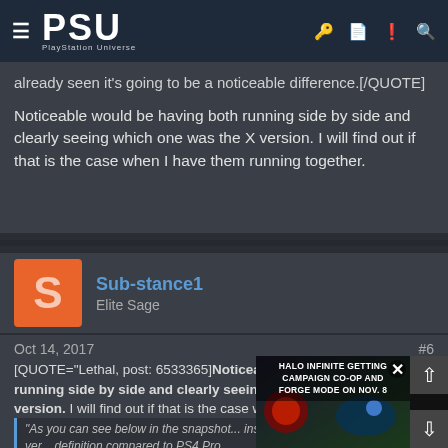PSU - PlayStation Universe
already seen it's going to be a noticeable difference.[/QUOTE]

Noticeable would be having both running side by side and clearly seeing which one was the X version. I will find out if that is the case when I have them running together.
[Figure (photo): Dark banner/image divider]
Sub-stance1
Elite Sage
Oct 14, 2017  #6
[QUOTE="Lethal, post: 6533365]Noticeable would be having both running side by side and clearly seeing which one was the X version. I will find out if that is the case when I have them running together.[/QUOTE]
Its been done already, lethal. Once again, this is something we already know to be fact.
"As you can see below in the snapshots, there are multiple instances where the Xbox One X ver... higher definition compared to PS4 Pro.
[Figure (infographic): Ad overlay: HALO INFINITE GETTING CAMPAIGN CO-OP AND FORGE MODE ON NOV. 8 with navigation arrows]